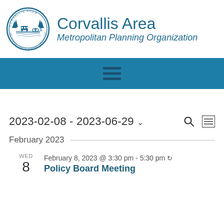[Figure (logo): Corvallis Area Metropolitan Planning Organization circular seal logo with illustrations of transportation modes and trees]
Corvallis Area
Metropolitan Planning Organization
[Figure (other): Blue navigation bar with hamburger menu icon]
2023-02-08 - 2023-06-29
February 2023
February 8, 2023 @ 3:30 pm - 5:30 pm
Policy Board Meeting